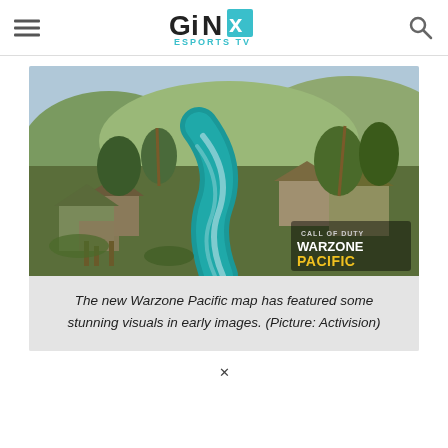GINX ESPORTS TV
[Figure (photo): Aerial view of a tropical village map from Call of Duty: Warzone Pacific, showing thatched huts, a turquoise river, palm trees, and the Warzone Pacific logo in the bottom right corner.]
The new Warzone Pacific map has featured some stunning visuals in early images. (Picture: Activision)